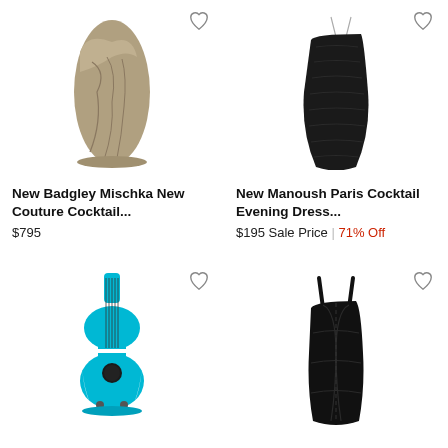[Figure (photo): Gold/metallic one-shoulder cocktail dress on white background]
New Badgley Mischka New Couture Cocktail...
$795
[Figure (photo): Black strapless cocktail/evening dress on white background]
New Manoush Paris Cocktail Evening Dress...
$195 Sale Price | 71% Off
[Figure (photo): Turquoise guitar-shaped mini dress (Jeremy Scott / Moschino 2016 Runway) on white background]
New Jeremy Scott (from Moschino ) 2016 Runwa...
$445 Sale Price | 55% Off
[Figure (photo): Black leather-look mini cocktail dress with spaghetti straps]
New Lerario Beatriz NYC Cocktail Dress Sz 6
$375 Sale Price | 44% Off